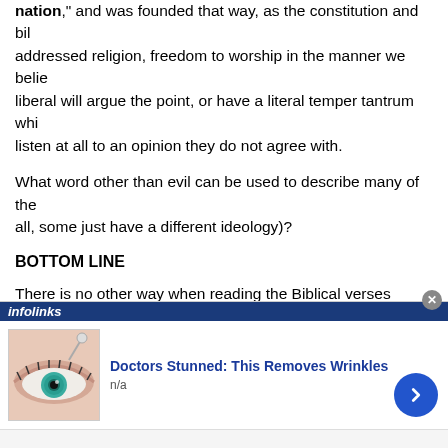nation," and was founded that way, as the constitution and bill addressed religion, freedom to worship in the manner we believe liberal will argue the point, or have a literal temper tantrum whi listen at all to an opinion they do not agree with.
What word other than evil can be used to describe many of the all, some just have a different ideology)?
BOTTOM LINE
There is no other way when reading the Biblical verses referrin the Beast to not see these controversial "vaccine passports" as than the Mark we were all warned of.
The most disturbing part of this whole issue is that they are not hide the fact that they want to force the mark on people anymo
Related:
[Figure (screenshot): Infolinks advertisement overlay showing 'Doctors Stunned: This Removes Wrinkles' ad with an eye image thumbnail, n/a label, blue arrow button, and close X button]